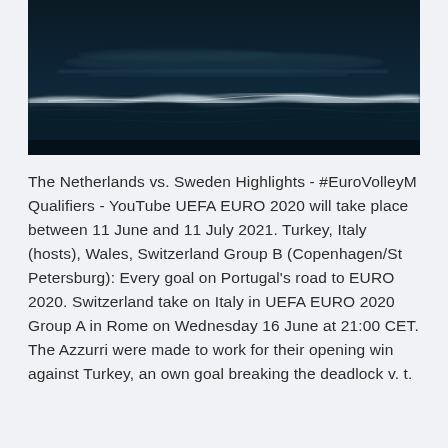[Figure (photo): Dark aerial or wide-angle photo of ocean waves at night or dusk, showing a faint white wave line across a dark teal/navy sea surface]
The Netherlands vs. Sweden Highlights - #EuroVolleyM Qualifiers - YouTube UEFA EURO 2020 will take place between 11 June and 11 July 2021. Turkey, Italy (hosts), Wales, Switzerland Group B (Copenhagen/St Petersburg): Every goal on Portugal's road to EURO 2020. Switzerland take on Italy in UEFA EURO 2020 Group A in Rome on Wednesday 16 June at 21:00 CET. The Azzurri were made to work for their opening win against Turkey, an own goal breaking the deadlock v. t.